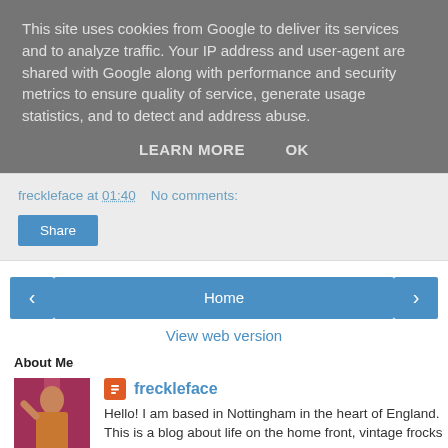This site uses cookies from Google to deliver its services and to analyze traffic. Your IP address and user-agent are shared with Google along with performance and security metrics to ensure quality of service, generate usage statistics, and to detect and address abuse.
LEARN MORE   OK
freckleface at 01:40    No comments:
Share
‹   Home   ›
View web version
About Me
[Figure (photo): Profile photo of freckleface — person in red/pink against pink background]
freckleface
Hello! I am based in Nottingham in the heart of England. This is a blog about life on the home front, vintage frocks...